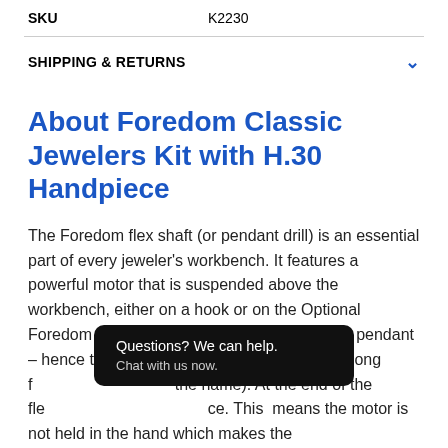| SKU | K2230 |
| --- | --- |
SHIPPING & RETURNS
About Foredom Classic Jewelers Kit with H.30 Handpiece
The Foredom flex shaft (or pendant drill) is an essential part of every jeweler's workbench. It features a powerful motor that is suspended above the workbench, either on a hook or on the Optional Foredom stand, (Not included). It hangs like a pendant – hence the name. Attached to the motor is a long f[...] the name). At the end of the fle[...] e. This means the motor is not held in the hand which makes the
Questions? We can help.
Chat with us now.